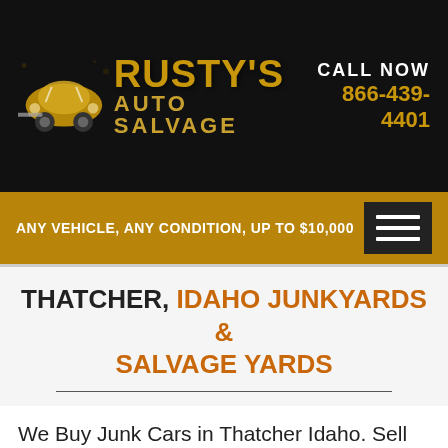[Figure (logo): Rusty's Auto Salvage logo with illustrated VW Beetle car icon and golden text on black background]
CALL NOW 866-439-4401
ANY VEHICLE, ANY CONDITION, UP TO $10,000
THATCHER, IDAHO JUNKYARDS & SALVAGE YARDS
We Buy Junk Cars in Thatcher Idaho. Sell Your Junk Car Today For Cash & Get Top Dollar + Free Removal.
Rusty's Auto Salvage has junkyards and salvage yards serving Thatcher Idaho who pay cash for junk cars, high-mileage cars, damaged, wrecked or just plain worn out old cars as well as junk vans, trucks and SUVs. They don't have to be running for you to get good cash. Our towers